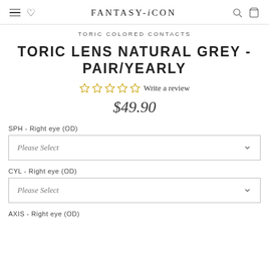FANTASY-iCON
TORIC COLORED CONTACTS
TORIC LENS NATURAL GREY - PAIR/YEARLY
☆☆☆☆☆ Write a review
$49.90
SPH - Right eye (OD)
Please Select
CYL - Right eye (OD)
Please Select
AXIS - Right eye (OD)